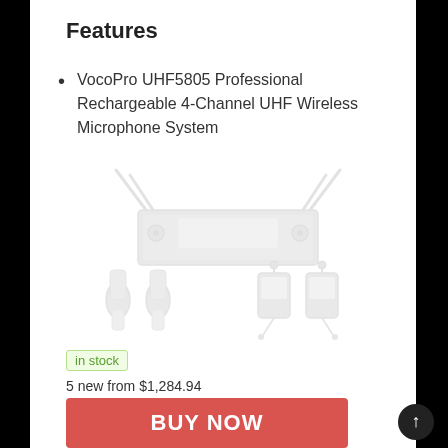Features
VocoPro UHF5805 Professional Rechargeable 4-Channel UHF Wireless Microphone System
[Figure (photo): Faded/watermarked product image of VocoPro UHF5805 wireless microphone system showing receiver unit and microphones]
in stock
5 new from $1,284.94
Free shipping
BUY NOW